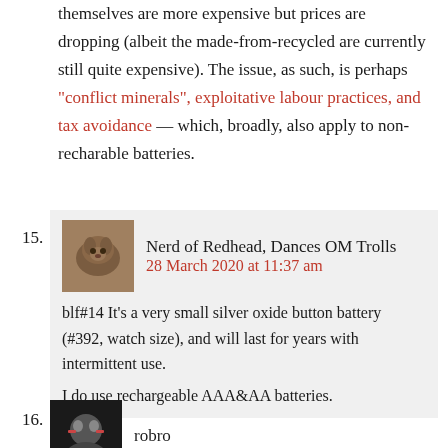themselves are more expensive but prices are dropping (albeit the made-from-recycled are currently still quite expensive). The issue, as such, is perhaps "conflict minerals", exploitative labour practices, and tax avoidance — which, broadly, also apply to non-recharable batteries.
15. Nerd of Redhead, Dances OM Trolls
28 March 2020 at 11:37 am
blf#14 It's a very small silver oxide button battery (#392, watch size), and will last for years with intermittent use.
I do use rechargeable AAA&AA batteries.
16. robro